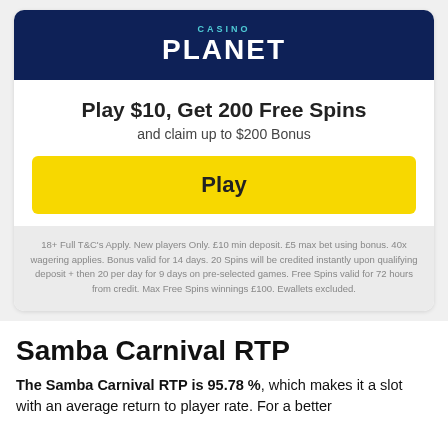[Figure (logo): Casino Planet logo on dark navy background with 'CASINO' in teal above 'PLANET' in white bold letters]
Play $10, Get 200 Free Spins
and claim up to $200 Bonus
Play
18+ Full T&C's Apply. New players Only. £10 min deposit. £5 max bet using bonus. 40x wagering applies. Bonus valid for 14 days. 20 Spins will be credited instantly upon qualifying deposit + then 20 per day for 9 days on pre-selected games. Free Spins valid for 72 hours from credit. Max Free Spins winnings £100. Ewallets excluded.
Samba Carnival RTP
The Samba Carnival RTP is 95.78 %, which makes it a slot with an average return to player rate. For a better